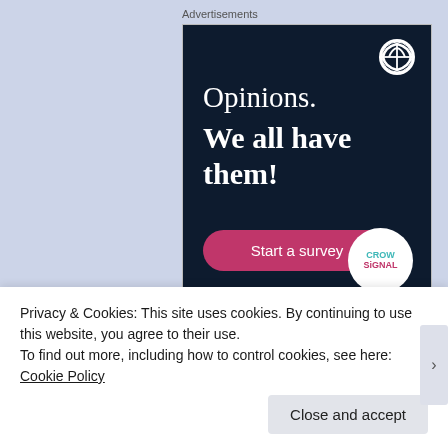Advertisements
[Figure (screenshot): WordPress/Crowdsignal advertisement on dark navy background. Text reads 'Opinions. We all have them!' with a pink 'Start a survey' button and Crowdsignal logo in bottom right. WordPress logo in top right.]
♦ SUBSCRIBE
Entries (RSS)
Privacy & Cookies: This site uses cookies. By continuing to use this website, you agree to their use.
To find out more, including how to control cookies, see here: Cookie Policy
Close and accept